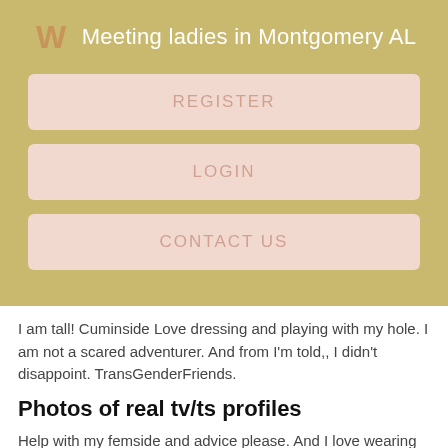Meeting ladies in Montgomery AL
REGISTER
LOGIN
CONTACT US
I am tall! Cuminside Love dressing and playing with my hole. I am not a scared adventurer. And from I'm told,, I didn't disappoint. TransGenderFriends.
Photos of real tv/ts profiles
Help with my femside and advice please. And I love wearing long, flowing dresses and skirts. Gabby X. Hi, I'm Alice; a 22 yearold transwoman not on hormones yet. MWM, discreet, ddf, love to suck, deep throat but you can convince me to bottom.